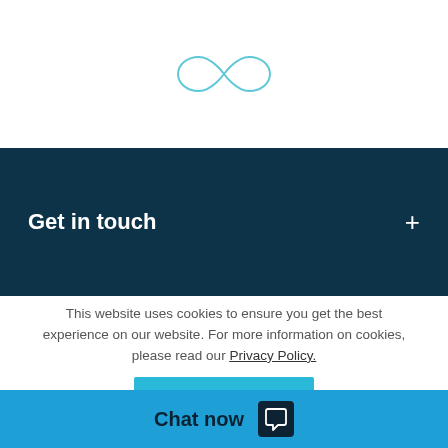[Figure (illustration): Teal/cyan outline infinity symbol (lemniscate) centered on white background]
Get in touch
This website uses cookies to ensure you get the best experience on our website. For more information on cookies, please read our Privacy Policy.
ACCEPT AND CLOSE
Chat now